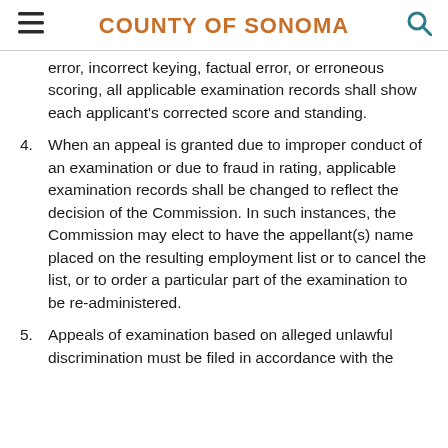COUNTY OF SONOMA
error, incorrect keying, factual error, or erroneous scoring, all applicable examination records shall show each applicant's corrected score and standing.
4. When an appeal is granted due to improper conduct of an examination or due to fraud in rating, applicable examination records shall be changed to reflect the decision of the Commission. In such instances, the Commission may elect to have the appellant(s) name placed on the resulting employment list or to cancel the list, or to order a particular part of the examination to be re-administered.
5. Appeals of examination based on alleged unlawful discrimination must be filed in accordance with the